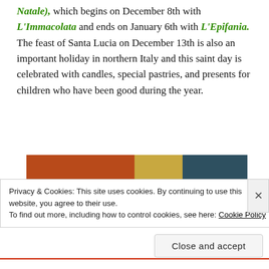Natale), which begins on December 8th with L'Immacolata and ends on January 6th with L'Epifania. The feast of Santa Lucia on December 13th is also an important holiday in northern Italy and this saint day is celebrated with candles, special pastries, and presents for children who have been good during the year.
[Figure (photo): A banner image reading 'St. Lucia Day' with warm orange/red and dark teal color blocks, with candle lights visible.]
Privacy & Cookies: This site uses cookies. By continuing to use this website, you agree to their use.
To find out more, including how to control cookies, see here: Cookie Policy
Close and accept